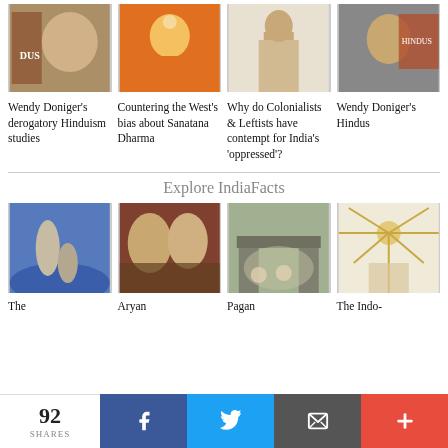[Figure (photo): Woman with glasses smiling near a book with 'DUS' visible]
[Figure (photo): Buddha statue in meditation pose, orange robes]
[Figure (photo): Historical illustration of a person in traditional Indian dress]
[Figure (photo): Woman resting chin on hand with Hindus book visible]
Wendy Doniger's derogatory Hinduism studies
Countering the West’s bias about Sanatana Dharma
Why do Colonialists & Leftists have contempt for India’s ‘oppressed’?
Wendy Doniger’s Hindus
Explore IndiaFacts
[Figure (photo): Painting of mythological figures on ocean waves]
[Figure (photo): Bust sculptures of two ancient Greek or Roman figures]
[Figure (photo): Group of people in robes near Stonehenge]
[Figure (photo): Ancient diagram or schematic with radiating lines and a sun symbol]
The
Aryan
Pagan
The Indo-
92 SHARES